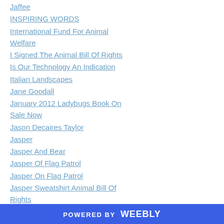Jaffee
INSPIRING WORDS
International Fund For Animal Welfare
I Signed The Animal Bill Of Rights
Is Our Technology An Indication
Italian Landscapes
Jane Goodall
January 2012 Ladybugs Book On Sale Now
Jason Decaires Taylor
Jasper
Jasper And Bear
Jasper Of Flag Patrol
Jasper On Flag Patrol
Jasper Sweatshirt Animal Bill Of Rights
POWERED BY weebly